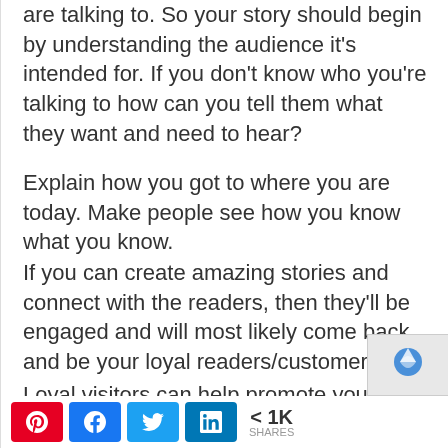are talking to. So your story should begin by understanding the audience it's intended for. If you don't know who you're talking to how can you tell them what they want and need to hear?
Explain how you got to where you are today. Make people see how you know what you know.
If you can create amazing stories and connect with the readers, then they'll be engaged and will most likely come back and be your loyal readers/customers.
Loyal visitors can help promote your business via Â word-of-mouth. For
[Figure (screenshot): Social share bar with Pinterest, Facebook, Twitter, LinkedIn buttons and share count showing < 1K SHARES, plus a reCAPTCHA logo in the bottom right.]